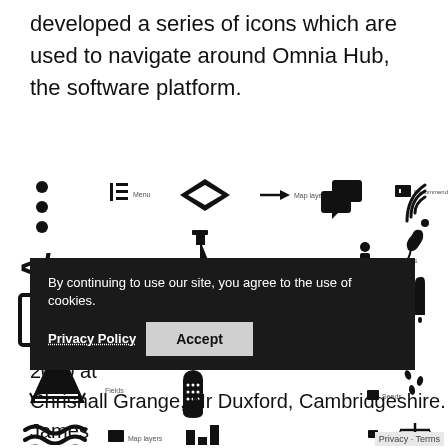developed a series of icons which are used to navigate around Omnia Hub, the software platform.
[Figure (illustration): Grid of black icons used for navigation in the Omnia Hub software platform, including menu icons, dashboard icons, soil analysis, seeds, nutrition, fields, map layers, stocks, manure, recommendations, and various import/export arrows.]
By continuing to use our site, you agree to the use of cookies.
Privacy Policy   Accept
The Omnia brand was launched at Cereals 2010 at Chrishall Grange, Nr Duxford, Cambridgeshire. James